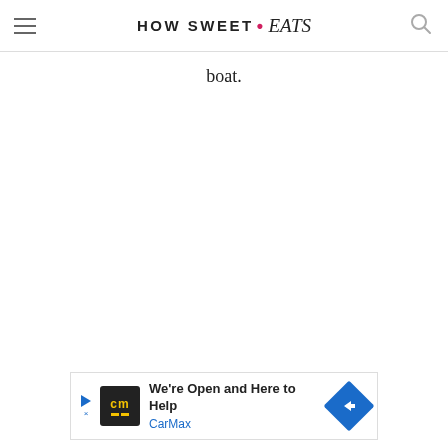HOW SWEET • eats
Because if they are mini, then you can eat more. Like, 8 more. Or 10. Whatever floats your boat.
[Figure (other): CarMax advertisement banner: 'We're Open and Here to Help' with CarMax logo and blue arrow icon]